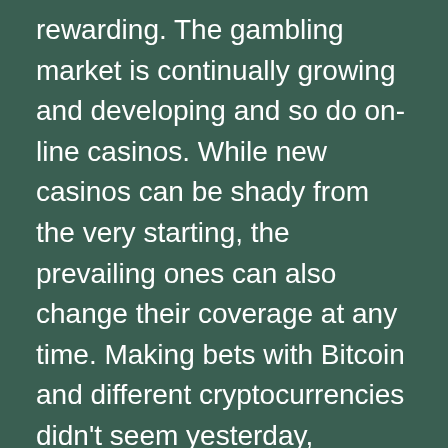rewarding. The gambling market is continually growing and developing and so do on-line casinos. While new casinos can be shady from the very starting, the prevailing ones can also change their coverage at any time. Making bets with Bitcoin and different cryptocurrencies didn't seem yesterday, however it gets increasingly in style amongst gamblers.
We spin slots reels, rotate the roulette wheel and play blackjack. We make deposits and withdraw wins, contact Customer Support. Our objective is to make your alternative easier to handle to chose the best for Revenue in to